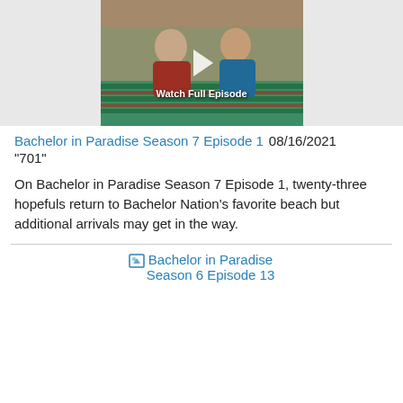[Figure (photo): Thumbnail image of two men sitting at a striped table, with a play button overlay and 'Watch Full Episode' text.]
Bachelor in Paradise Season 7 Episode 1  08/16/2021
"701"
On Bachelor in Paradise Season 7 Episode 1, twenty-three hopefuls return to Bachelor Nation's favorite beach but additional arrivals may get in the way.
[Figure (screenshot): Broken image placeholder linking to Bachelor in Paradise Season 6 Episode 13]
Bachelor in Paradise Season 6 Episode 13  09/17/2019
"607"